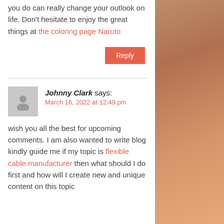you do can really change your outlook on life. Don't hesitate to enjoy the great things at the coloring page Naruto
Reply
Johnny Clark says: March 16, 2022 at 12:49 pm
wish you all the best for upcoming comments. I am also wanted to write blog kindly guide me if my topic is flexible cable manufacturer then what should I do first and how will I create new and unique content on this topic